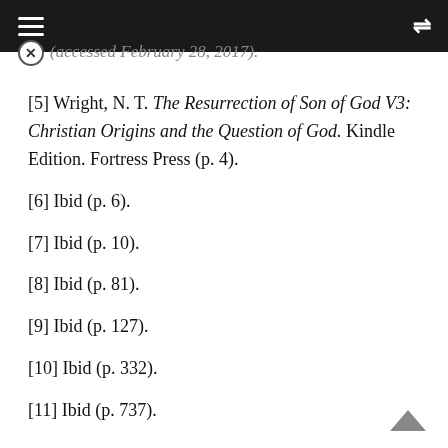≡  ⇌
(accessed February 28, 2017).
[5] Wright, N. T. The Resurrection of Son of God V3: Christian Origins and the Question of God. Kindle Edition. Fortress Press (p. 4).
[6] Ibid (p. 6).
[7] Ibid (p. 10).
[8] Ibid (p. 81).
[9] Ibid (p. 127).
[10] Ibid (p. 332).
[11] Ibid (p. 737).